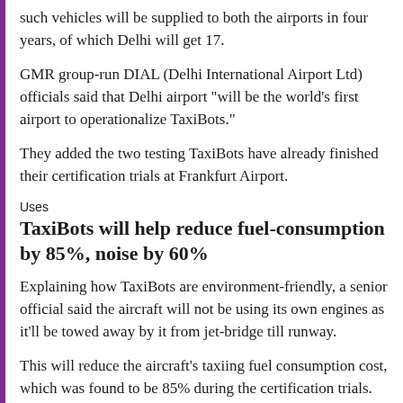such vehicles will be supplied to both the airports in four years, of which Delhi will get 17.
GMR group-run DIAL (Delhi International Airport Ltd) officials said that Delhi airport "will be the world's first airport to operationalize TaxiBots."
They added the two testing TaxiBots have already finished their certification trials at Frankfurt Airport.
Uses
TaxiBots will help reduce fuel-consumption by 85%, noise by 60%
Explaining how TaxiBots are environment-friendly, a senior official said the aircraft will not be using its own engines as it'll be towed away by it from jet-bridge till runway.
This will reduce the aircraft's taxiing fuel consumption cost, which was found to be 85% during the certification trials. Noise pollution also reduced by 60%.